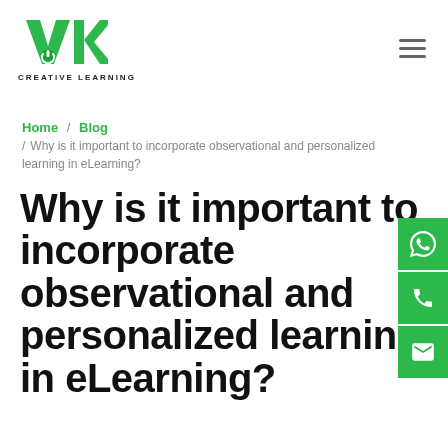[Figure (logo): VK Creative Learning logo — green V and K letters with power button icon, text CREATIVE LEARNING below]
Home / Blog / Why is it important to incorporate observational and personalized learning in eLearning?
Why is it important to incorporate observational and personalized learning in eLearning?